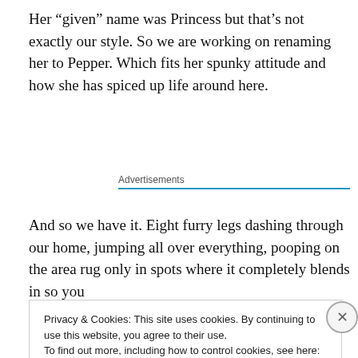Her “given” name was Princess but that’s not exactly our style. So we are working on renaming her to Pepper. Which fits her spunky attitude and how she has spiced up life around here.
Advertisements
And so we have it. Eight furry legs dashing through our home, jumping all over everything, pooping on the area rug only in spots where it completely blends in so you
Privacy & Cookies: This site uses cookies. By continuing to use this website, you agree to their use.
To find out more, including how to control cookies, see here: Cookie Policy
Close and accept